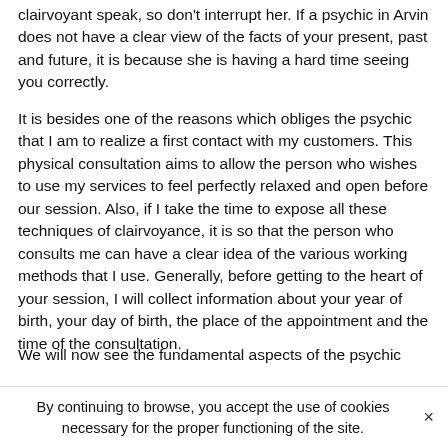clairvoyant speak, so don't interrupt her. If a psychic in Arvin does not have a clear view of the facts of your present, past and future, it is because she is having a hard time seeing you correctly.
It is besides one of the reasons which obliges the psychic that I am to realize a first contact with my customers. This physical consultation aims to allow the person who wishes to use my services to feel perfectly relaxed and open before our session. Also, if I take the time to expose all these techniques of clairvoyance, it is so that the person who consults me can have a clear idea of the various working methods that I use. Generally, before getting to the heart of your session, I will collect information about your year of birth, your day of birth, the place of the appointment and the time of the consultation.
We will now see the fundamental aspects of the psychic
By continuing to browse, you accept the use of cookies necessary for the proper functioning of the site.